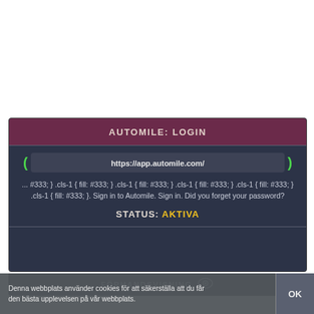AUTOMILE: LOGIN
https://app.automile.com/
... #333; } .cls-1 { fill: #333; } .cls-1 { fill: #333; } .cls-1 { fill: #333; } .cls-1 { fill: #333; } .cls-1 { fill: #333; }. Sign in to Automile. Sign in. Did you forget your password?
STATUS: AKTIVA
FÖRHANDSVISNING
Denna webbplats använder cookies för att säkerställa att du får den bästa upplevelsen på vår webbplats.